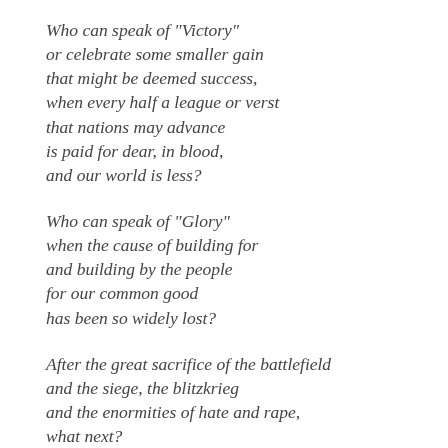Who can speak of "Victory"
or celebrate some smaller gain
that might be deemed success,
when every half a league or verst
that nations may advance
is paid for dear, in blood,
and our world is less?
Who can speak of "Glory"
when the cause of building for
and building by the people
for our common good
has been so widely lost?
After the great sacrifice of the battlefield
and the siege, the blitzkrieg
and the enormities of hate and rape,
what next?
Our class war for justice
and the peace that it may bring
is set aside once more,